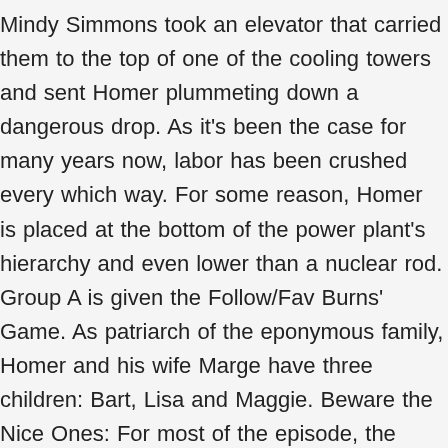Mindy Simmons took an elevator that carried them to the top of one of the cooling towers and sent Homer plummeting down a dangerous drop. As it's been the case for many years now, labor has been crushed every which way. For some reason, Homer is placed at the bottom of the power plant's hierarchy and even lower than a nuclear rod. Group A is given the Follow/Fav Burns' Game. As patriarch of the eponymous family, Homer and his wife Marge have three children: Bart, Lisa and Maggie. Beware the Nice Ones: For most of the episode, the German businessmen are depicted as honest, friendly, workaholic people who want nothing but the best for their employees and the power plant.Even Lenny puts aside his initial prejudices. In 1995, Mr. Burns, when planning his Sun Blocker plan shortly after firing Waylon Smithers, also